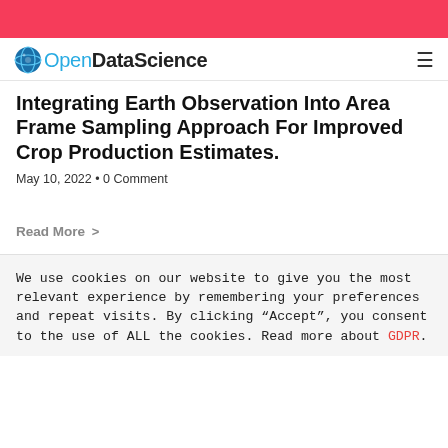OpenDataScience
Integrating Earth Observation Into Area Frame Sampling Approach For Improved Crop Production Estimates.
May 10, 2022 • 0 Comment
Read More >
We use cookies on our website to give you the most relevant experience by remembering your preferences and repeat visits. By clicking "Accept", you consent to the use of ALL the cookies. Read more about GDPR.